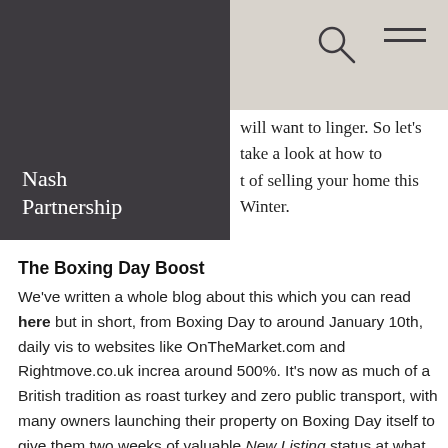Nash Partnership
will want to linger. So let's take a look at how to get the most out of selling your home this Winter.
The Boxing Day Boost
We've written a whole blog about this which you can read here but in short, from Boxing Day to around January 10th, daily visits to websites like OnTheMarket.com and Rightmove.co.uk increase around 500%. It's now as much of a British tradition as roast turkey and zero public transport, with many owners launching their property on Boxing Day itself to give them two weeks of valuable New Listing status at what is now the busiest time of year for online property searches. Even if you don't want viewings over the festive period, it's a unique time to be on the market because of the reduced competition and increased activity.
Give thanks for the holidays